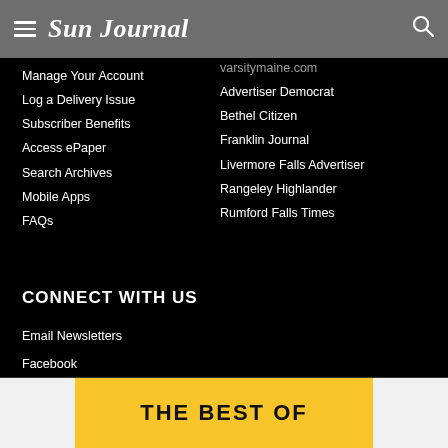Sun Journal
varsitymaine.com
Manage Your Account
Advertiser Democrat
Log a Delivery Issue
Bethel Citizen
Subscriber Benefits
Franklin Journal
Access ePaper
Livermore Falls Advertiser
Search Archives
Rangeley Highlander
Mobile Apps
Rumford Falls Times
FAQs
CONNECT WITH US
Email Newsletters
Facebook
Instagram
Twitter
YouTube
THE BEST OF